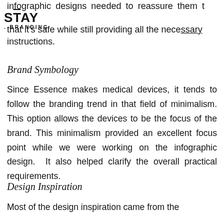infographic designs needed to reassure them that it's safe while still providing all the necessary instructions.
STAY . BRANDING
Brand Symbology
Since Essence makes medical devices, it tends to follow the branding trend in that field of minimalism. This option allows the devices to be the focus of the brand. This minimalism provided an excellent focus point while we were working on the infographic design. It also helped clarify the overall practical requirements.
Design Inspiration
Most of the design inspiration came from the